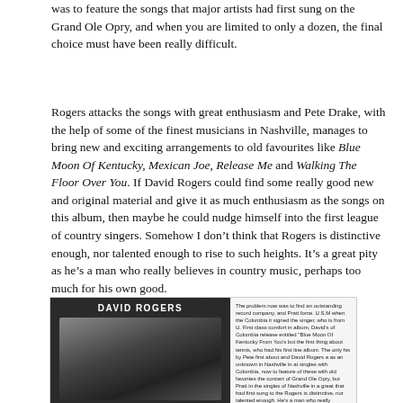was to feature the songs that major artists had first sung on the Grand Ole Opry, and when you are limited to only a dozen, the final choice must have been really difficult.
Rogers attacks the songs with great enthusiasm and Pete Drake, with the help of some of the finest musicians in Nashville, manages to bring new and exciting arrangements to old favourites like Blue Moon Of Kentucky, Mexican Joe, Release Me and Walking The Floor Over You. If David Rogers could find some really good new and original material and give it as much enthusiasm as the songs on this album, then maybe he could nudge himself into the first league of country singers. Somehow I don’t think that Rogers is distinctive enough, nor talented enough to rise to such heights. It’s a great pity as he’s a man who really believes in country music, perhaps too much for his own good.
[Figure (photo): A scanned magazine or press clipping featuring David Rogers. Left side shows a black-and-white photo of David Rogers performing, with his name 'DAVID ROGERS' printed above. Right side contains a column of small printed text (a review or article).]